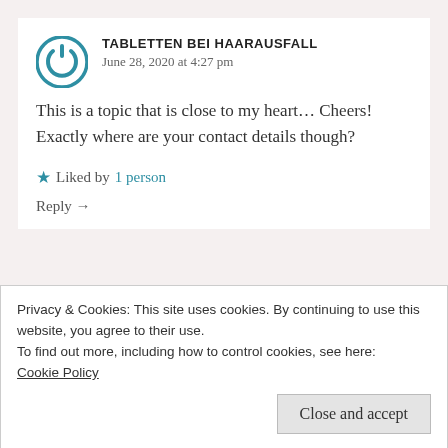TABLETTEN BEI HAARAUSFALL
June 28, 2020 at 4:27 pm
This is a topic that is close to my heart… Cheers! Exactly where are your contact details though?
Liked by 1 person
Reply →
SHRAVYA
June 30, 2020 at 9:18 pm
You can mail me at shravya@theclassychic.com or message here: https://theclassychic.org/contact-
Privacy & Cookies: This site uses cookies. By continuing to use this website, you agree to their use.
To find out more, including how to control cookies, see here:
Cookie Policy
Close and accept